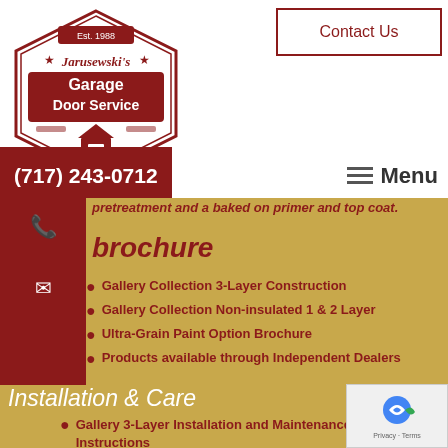[Figure (logo): Jarusewski's Garage Door Service hexagonal logo with red banner and house icon]
Contact Us
(717) 243-0712
Menu
pretreatment and a baked on primer and top coat.
brochure
Gallery Collection 3-Layer Construction
Gallery Collection Non-insulated 1 & 2 Layer
Ultra-Grain Paint Option Brochure
Products available through Independent Dealers
Installation & Care
Gallery 3-Layer Installation and Maintenance Instructions